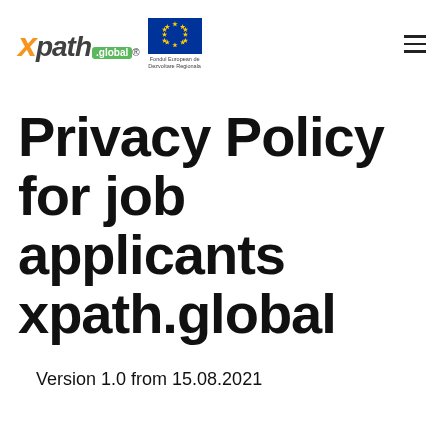xpath.global — Privacy Policy for job applicants
Privacy Policy for job applicants xpath.global
Version 1.0 from 15.08.2021